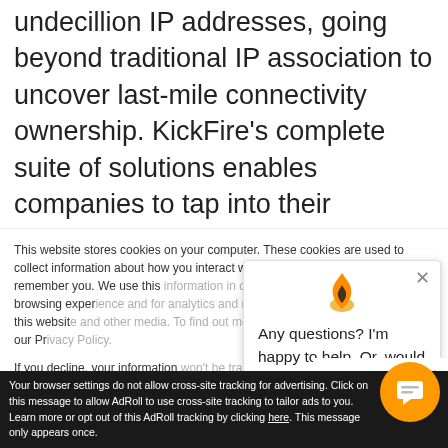undecillion IP addresses, going beyond traditional IP association to uncover last-mile connectivity ownership. KickFire's complete suite of solutions enables companies to tap into their website's invisible pipeline and transform anonymous visitors into actionable sales opportunities.
This website stores cookies on your computer. These cookies are used to collect information about how you interact with our website and allow us to remember you. We use this information in order to improve and customize your browsing experience and for analytics and metrics about our visitors both on this website and other media. To find out more about the cookies we use, see our Privacy Policy.
If you decline, your information won't be tracked when you visit this website. A single cookie will be used in your browser to remember your preference not to be tracked.
Any questions? I'm happy to help. Or, would you like to be connected to a KickFire expert?
Your browser settings do not allow cross-site tracking for advertising. Click on this message to allow AdRoll to use cross-site tracking to tailor ads to you. Learn more or opt out of this AdRoll tracking by clicking here. This message only appears once.